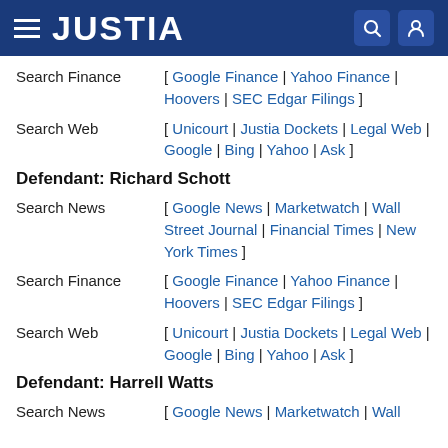JUSTIA
Search Finance [ Google Finance | Yahoo Finance | Hoovers | SEC Edgar Filings ]
Search Web [ Unicourt | Justia Dockets | Legal Web | Google | Bing | Yahoo | Ask ]
Defendant: Richard Schott
Search News [ Google News | Marketwatch | Wall Street Journal | Financial Times | New York Times ]
Search Finance [ Google Finance | Yahoo Finance | Hoovers | SEC Edgar Filings ]
Search Web [ Unicourt | Justia Dockets | Legal Web | Google | Bing | Yahoo | Ask ]
Defendant: Harrell Watts
Search News [ Google News | Marketwatch | Wall